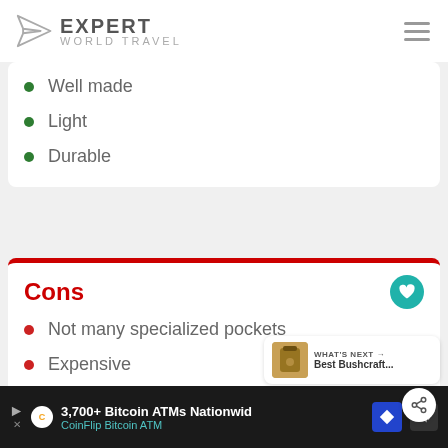EXPERT WORLD TRAVEL
Well made
Light
Durable
Cons
Not many specialized pockets
Expensive
WHAT'S NEXT → Best Bushcraft...
3,700+ Bitcoin ATMs Nationwid CoinFlip Bitcoin ATM